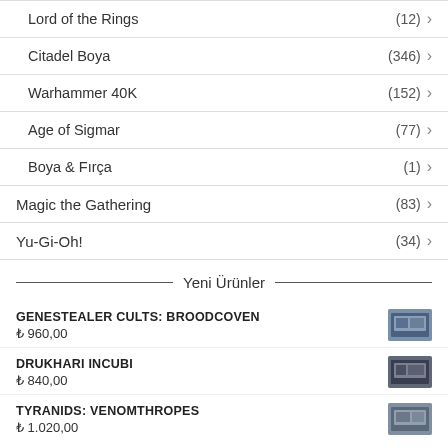Lord of the Rings (12)
Citadel Boya (346)
Warhammer 40K (152)
Age of Sigmar (77)
Boya & Fırça (1)
Magic the Gathering (83)
Yu-Gi-Oh! (34)
Yeni Ürünler
GENESTEALER CULTS: BROODCOVEN ₺ 960,00
DRUKHARI INCUBI ₺ 840,00
TYRANIDS: VENOMTHROPES ₺ 1.020,00